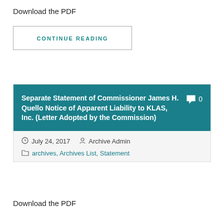Download the PDF
CONTINUE READING
Separate Statement of Commissioner James H. Quello Notice of Apparent Liability to KLAS, Inc. (Letter Adopted by the Commission)
July 24, 2017  Archive Admin
archives, Archives List, Statement
Download the PDF